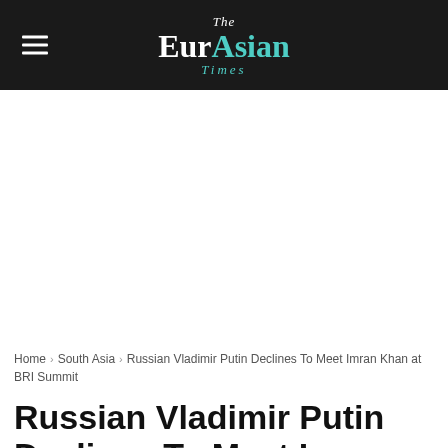The EurAsian Times
Home › South Asia › Russian Vladimir Putin Declines To Meet Imran Khan at BRI Summit
Russian Vladimir Putin Declines To Meet Imran Khan